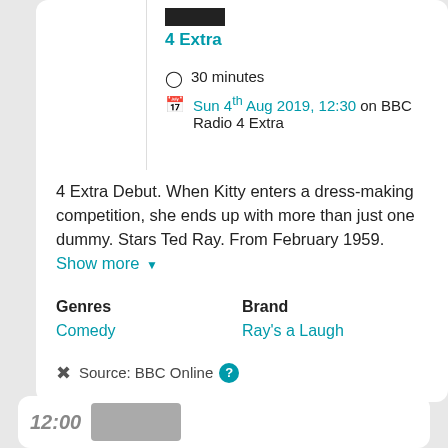4 Extra
30 minutes
Sun 4th Aug 2019, 12:30 on BBC Radio 4 Extra
4 Extra Debut. When Kitty enters a dress-making competition, she ends up with more than just one dummy. Stars Ted Ray. From February 1959. Show more
Genres
Comedy
Brand
Ray's a Laugh
Source: BBC Online